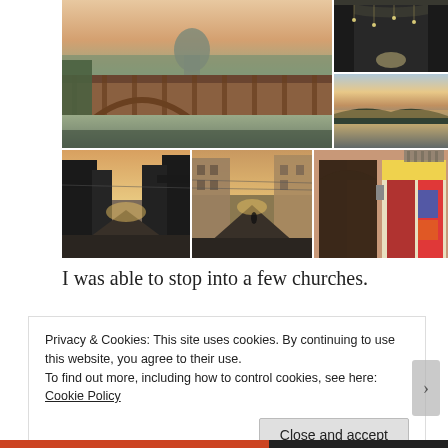[Figure (photo): Photo collage of Italian city scenes including a covered bridge over a river with a cathedral dome in the background, a narrow alley, sunset over a river, and street scenes at dusk with old buildings.]
I was able to stop into a few churches.
Privacy & Cookies: This site uses cookies. By continuing to use this website, you agree to their use.
To find out more, including how to control cookies, see here: Cookie Policy
Close and accept